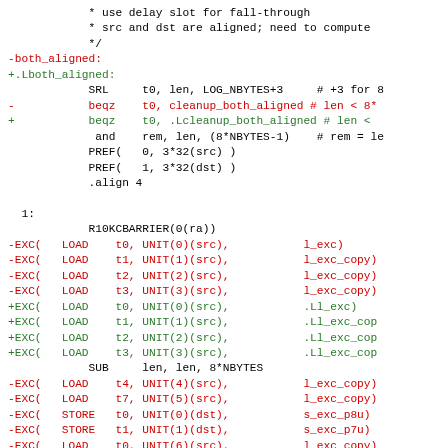Code diff showing assembly/C patch with both_aligned label changes and EXC( LOAD/STORE macro replacements